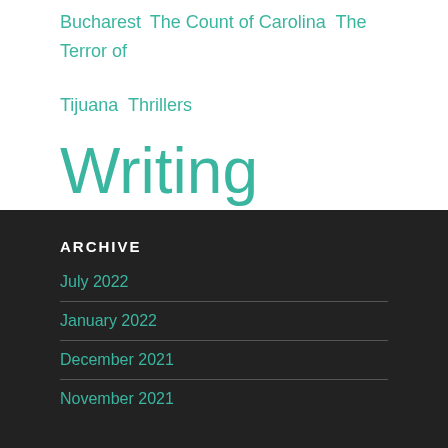Bucharest  The Count of Carolina  The Terror of Tijuana  Thrillers  Writing
ARCHIVE
July 2022
January 2022
December 2021
November 2021